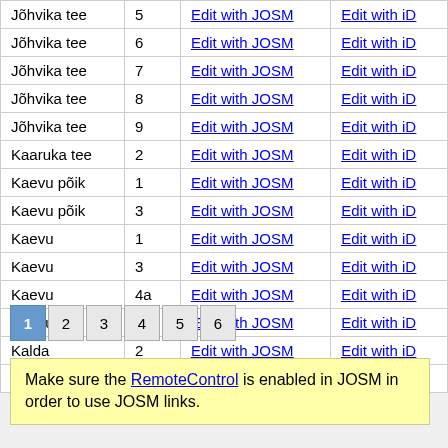| Street | Number | Edit | Edit |
| --- | --- | --- | --- |
| Jõhvika tee | 5 | Edit with JOSM | Edit with iD |
| Jõhvika tee | 6 | Edit with JOSM | Edit with iD |
| Jõhvika tee | 7 | Edit with JOSM | Edit with iD |
| Jõhvika tee | 8 | Edit with JOSM | Edit with iD |
| Jõhvika tee | 9 | Edit with JOSM | Edit with iD |
| Kaaruka tee | 2 | Edit with JOSM | Edit with iD |
| Kaevu põik | 1 | Edit with JOSM | Edit with iD |
| Kaevu põik | 3 | Edit with JOSM | Edit with iD |
| Kaevu | 1 | Edit with JOSM | Edit with iD |
| Kaevu | 3 | Edit with JOSM | Edit with iD |
| Kaevu | 4a | Edit with JOSM | Edit with iD |
| Kaevu | 6 | Edit with JOSM | Edit with iD |
| Kalda | 2 | Edit with JOSM | Edit with iD |
| Karja | 18d | Edit with JOSM | Edit with iD |
1 2 3 4 5 6
Make sure the RemoteControl is enabled in JOSM in order to use JOSM links.